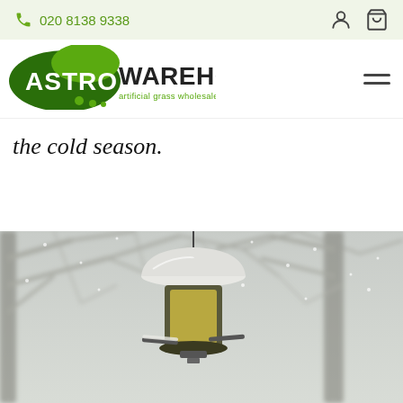020 8138 9338
[Figure (logo): Astro Warehouse artificial grass wholesaler logo — dark green oval with white ASTRO text, lighter green overlapping shape, green dot decorations, and WAREHOUSE text in dark letters with 'artificial grass wholesaler' tagline in green]
the cold season.
[Figure (photo): A snow-covered bird feeder hanging against a blurred winter background of bare tree branches. The feeder has a domed top covered in snow, a cylindrical body, and metal perches. The scene is in muted grey and white tones typical of a snowy day.]